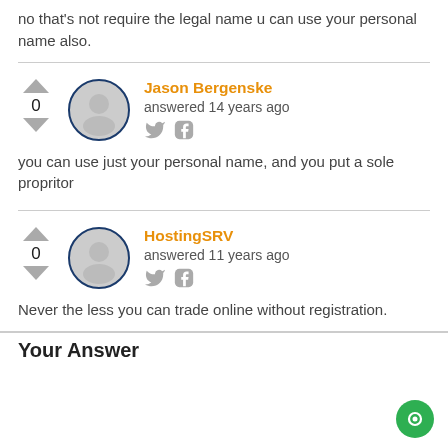no that's not require the legal name u can use your personal name also.
you can use just your personal name, and you put a sole propritor
Never the less you can trade online without registration.
Your Answer